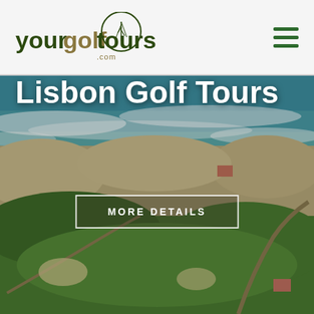[Figure (logo): yourgolftours.com logo in the header — wordmark with olive/dark green text and a circle with golf tree graphic]
[Figure (photo): Aerial photo of a coastal golf course in Lisbon with turquoise ocean waves in the background, sandy dunes and green fairways]
Lisbon Golf Tours
MORE DETAILS